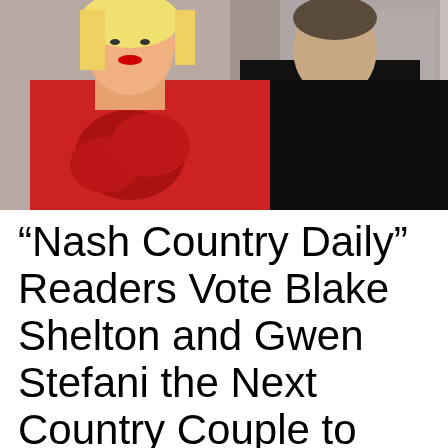[Figure (photo): A woman with blonde hair wearing a red floral dress and a man in an all-black outfit, posing together at what appears to be a formal event.]
“Nash Country Daily” Readers Vote Blake Shelton and Gwen Stefani the Next Country Couple to Get Engaged